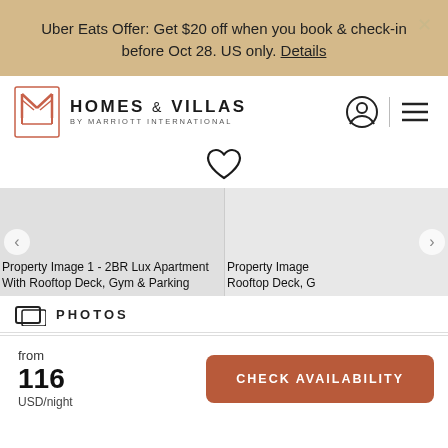Uber Eats Offer: Get $20 off when you book & check-in before Oct 28. US only. Details
[Figure (logo): Homes & Villas by Marriott International logo with geometric M icon in terracotta/salmon color]
[Figure (other): User account icon (circle with person silhouette) and hamburger menu icon]
[Figure (other): Heart/favorite icon (outline)]
[Figure (photo): Property Image 1 - 2BR Lux Apartment With Rooftop Deck, Gym & Parking]
[Figure (photo): Property Image 2 - 2BR Lux Apartment With Rooftop Deck, Gym & Parking (partially visible)]
PHOTOS
from
116
USD/night
CHECK AVAILABILITY